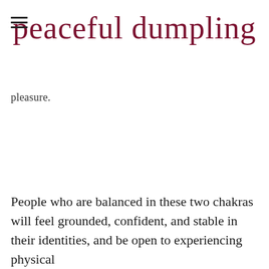peaceful dumpling
pleasure.
People who are balanced in these two chakras will feel grounded, confident, and stable in their identities, and be open to experiencing physical